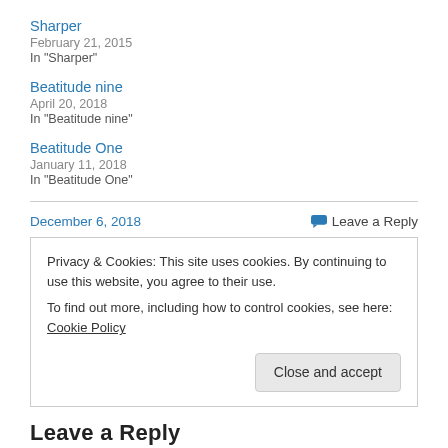Sharper
February 21, 2015
In "Sharper"
Beatitude nine
April 20, 2018
In "Beatitude nine"
Beatitude One
January 11, 2018
In "Beatitude One"
December 6, 2018
Leave a Reply
Privacy & Cookies: This site uses cookies. By continuing to use this website, you agree to their use.
To find out more, including how to control cookies, see here: Cookie Policy
Close and accept
Leave a Reply